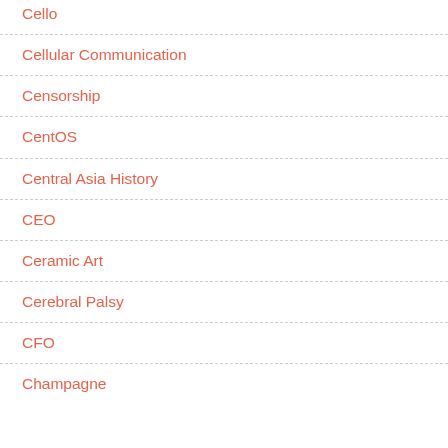Cello
Cellular Communication
Censorship
CentOS
Central Asia History
CEO
Ceramic Art
Cerebral Palsy
CFO
Champagne